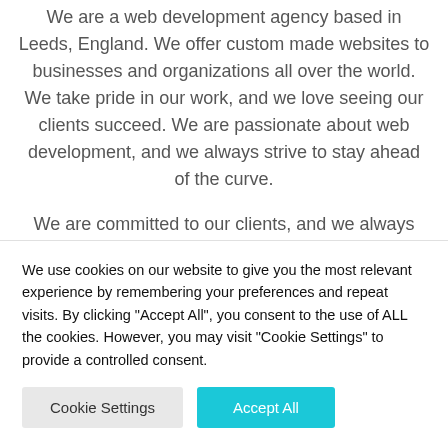We are a web development agency based in Leeds, England. We offer custom made websites to businesses and organizations all over the world. We take pride in our work, and we love seeing our clients succeed. We are passionate about web development, and we always strive to stay ahead of the curve.
We are committed to our clients, and we always work hard to deliver the best possible results. Our expert web designers are always up for a challenge and always looking for new ways to
We use cookies on our website to give you the most relevant experience by remembering your preferences and repeat visits. By clicking "Accept All", you consent to the use of ALL the cookies. However, you may visit "Cookie Settings" to provide a controlled consent.